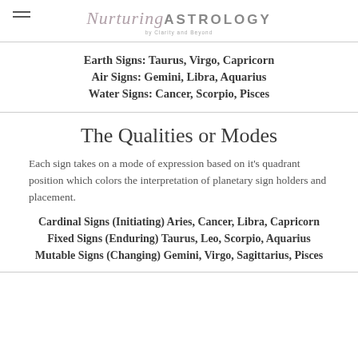Nurturing ASTROLOGY by Clarity and Beyond
Earth Signs: Taurus, Virgo, Capricorn
Air Signs: Gemini, Libra, Aquarius
Water Signs: Cancer, Scorpio, Pisces
The Qualities or Modes
Each sign takes on a mode of expression based on it's quadrant position which colors the interpretation of planetary sign holders and placement.
Cardinal Signs (Initiating) Aries, Cancer, Libra, Capricorn
Fixed Signs (Enduring) Taurus, Leo, Scorpio, Aquarius
Mutable Signs (Changing) Gemini, Virgo, Sagittarius, Pisces